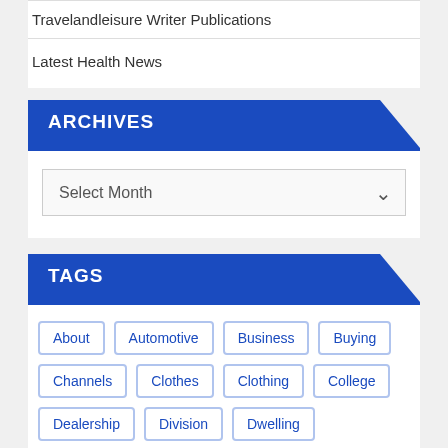Travelandleisure Writer Publications
Latest Health News
ARCHIVES
Select Month
TAGS
About
Automotive
Business
Buying
Channels
Clothes
Clothing
College
Dealership
Division
Dwelling
Education